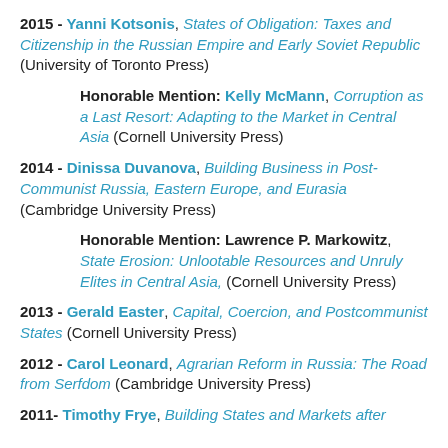2015 - Yanni Kotsonis, States of Obligation: Taxes and Citizenship in the Russian Empire and Early Soviet Republic (University of Toronto Press)
Honorable Mention: Kelly McMann, Corruption as a Last Resort: Adapting to the Market in Central Asia (Cornell University Press)
2014 - Dinissa Duvanova, Building Business in Post-Communist Russia, Eastern Europe, and Eurasia (Cambridge University Press)
Honorable Mention: Lawrence P. Markowitz, State Erosion: Unlootable Resources and Unruly Elites in Central Asia, (Cornell University Press)
2013 - Gerald Easter, Capital, Coercion, and Postcommunist States (Cornell University Press)
2012 - Carol Leonard, Agrarian Reform in Russia: The Road from Serfdom (Cambridge University Press)
2011- Timothy Frye, Building States and Markets after